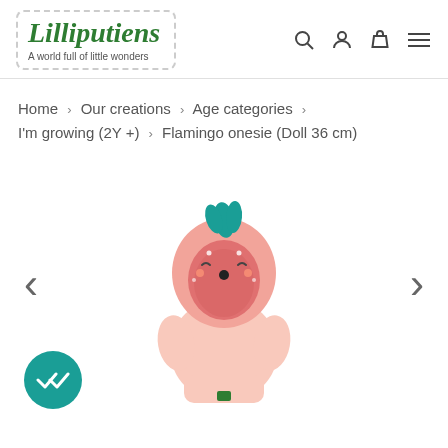[Figure (logo): Lilliputiens logo with dashed border and tagline 'A world full of little wonders']
Home > Our creations > Age categories > I'm growing (2Y +) > Flamingo onesie (Doll 36 cm)
[Figure (photo): Flamingo onesie doll outfit, 36cm, light pink with flamingo hood - product photo with left and right navigation arrows and a teal checkmark badge in bottom left]